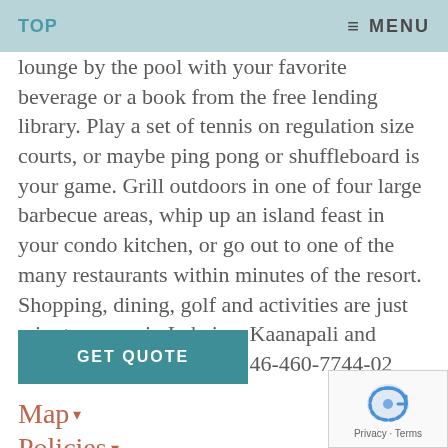TOP    ≡ MENU
lounge by the pool with your favorite beverage or a book from the free lending library. Play a set of tennis on regulation size courts, or maybe ping pong or shuffleboard is your game. Grill outdoors in one of four large barbecue areas, whip up an island feast in your condo kitchen, or go out to one of the many restaurants within minutes of the resort. Shopping, dining, golf and activities are just minutes away in Lahaina, Kaanapali and Kapalua. | | TAX ID #: 146-460-7744-02
GET QUOTE
Map ▾
Policies ▾